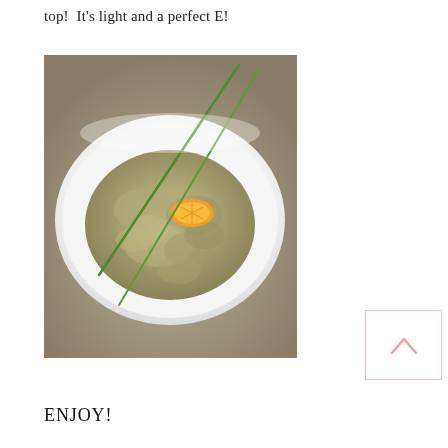top!  It's light and a perfect E!
[Figure (photo): A white bowl containing a chunky, pale green/beige spread or salad (such as artichoke dip or tuna salad), garnished with a lemon or orange slice and two long green chives, photographed from above on a grey surface.]
ENJOY!